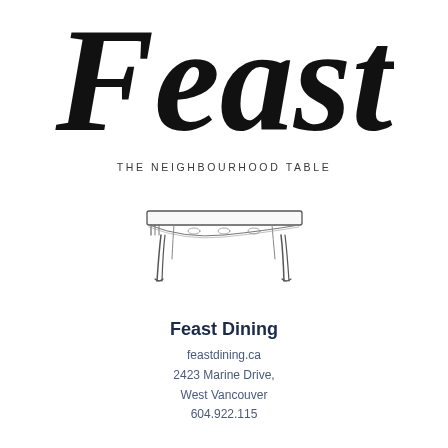[Figure (logo): Large cursive/script handwritten logo text reading 'Feast' in black ink, cropped at top]
THE NEIGHBOURHOOD TABLE
[Figure (illustration): Line drawing illustration of a decorative dining table with ornate legs, viewed from a slight angle]
Feast Dining
feastdining.ca
2423 Marine Drive,
West Vancouver
604.922.115